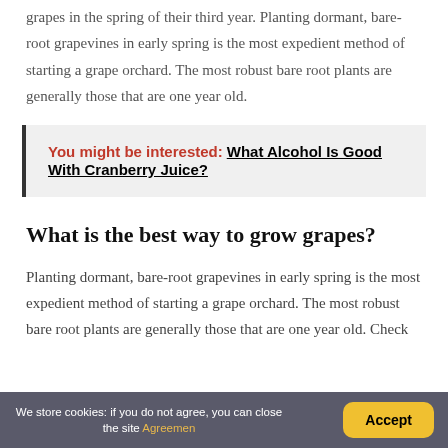grapes in the spring of their third year. Planting dormant, bare-root grapevines in early spring is the most expedient method of starting a grape orchard. The most robust bare root plants are generally those that are one year old.
You might be interested: What Alcohol Is Good With Cranberry Juice?
What is the best way to grow grapes?
Planting dormant, bare-root grapevines in early spring is the most expedient method of starting a grape orchard. The most robust bare root plants are generally those that are one year old. Check
We store cookies: if you do not agree, you can close the site Agreemen